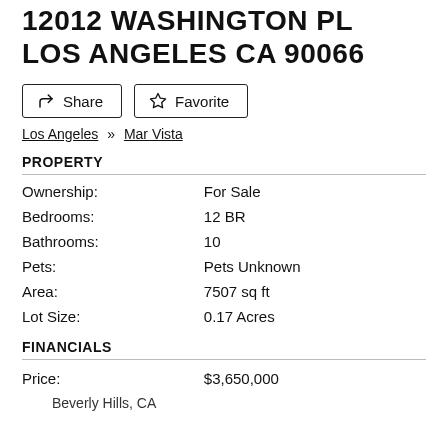12012 WASHINGTON PL LOS ANGELES CA 90066
Share   Favorite
Los Angeles » Mar Vista
PROPERTY
| Field | Value |
| --- | --- |
| Ownership: | For Sale |
| Bedrooms: | 12 BR |
| Bathrooms: | 10 |
| Pets: | Pets Unknown |
| Area: | 7507 sq ft |
| Lot Size: | 0.17 Acres |
FINANCIALS
| Field | Value |
| --- | --- |
| Price: | $3,650,000 |
Beverly Hills, CA